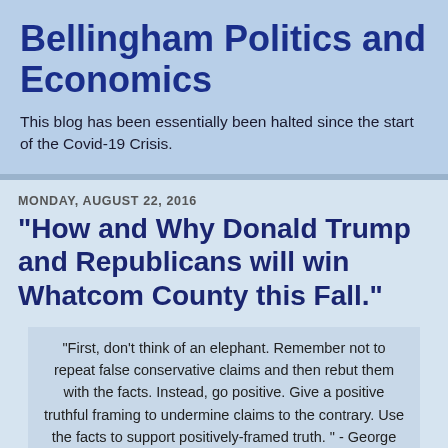Bellingham Politics and Economics
This blog has been essentially been halted since the start of the Covid-19 Crisis.
MONDAY, AUGUST 22, 2016
"How and Why Donald Trump and Republicans will win Whatcom County this Fall."
"First, don’t think of an elephant. Remember not to repeat false conservative claims and then rebut them with the facts. Instead, go positive. Give a positive truthful framing to undermine claims to the contrary. Use the facts to support positively-framed truth. " - George Lakeoff